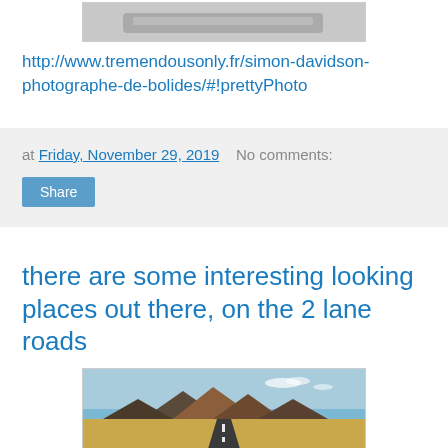[Figure (photo): Partial top of a photo of a car, cropped at top of page]
http://www.tremendousonly.fr/simon-davidson-photographe-de-bolides/#!prettyPhoto
at Friday, November 29, 2019   No comments:
Share
there are some interesting looking places out there, on the 2 lane roads
[Figure (photo): Landscape photo of a two-lane road stretching toward layered mesa formations under a blue sky with sparse clouds]